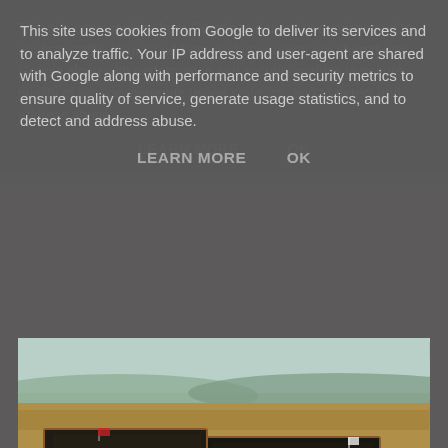This site uses cookies from Google to deliver its services and to analyze traffic. Your IP address and user-agent are shared with Google along with performance and security metrics to ensure quality of service, generate usage statistics, and to detect and address abuse.
LEARN MORE    OK
[Figure (photo): Wargaming miniatures of soldiers arranged in formation on a terrain board representing a field with a landscape background. The front view of 3rd Brigade.]
The front view of 3rd Brigade
[Figure (photo): Partial view of another wargaming miniatures scene with landscape background, bottom of page.]